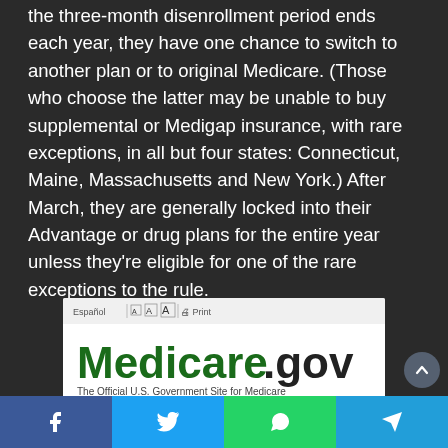the three-month disenrollment period ends each year, they have one chance to switch to another plan or to original Medicare. (Those who choose the latter may be unable to buy supplemental or Medigap insurance, with rare exceptions, in all but four states: Connecticut, Maine, Massachusetts and New York.) After March, they are generally locked into their Advantage or drug plans for the entire year unless they're eligible for one of the rare exceptions to the rule.
[Figure (screenshot): Screenshot of Medicare.gov website showing the official U.S. Government Site for Medicare with navigation buttons: Sign Up / Change Plans, Your Medicare Costs, What Medicare Covers]
Facebook | Twitter | WhatsApp | Telegram social share buttons